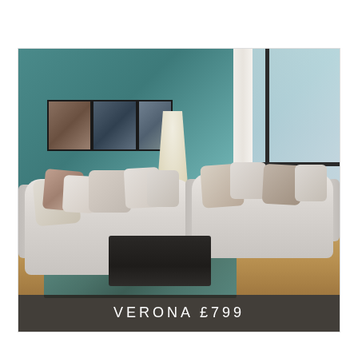[Figure (photo): Product listing photo showing two light grey fabric sofas (3-seater and 2-seater) with patterned scatter cushions in a styled living room setting with teal walls, wooden floor, floor lamp, wall art, a dark coffee table, and a teal rug. A semi-transparent dark banner at the bottom displays the product name and price.]
VERONA £799